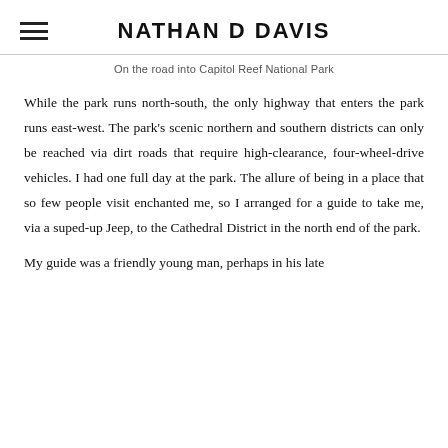NATHAN D DAVIS
On the road into Capitol Reef National Park
While the park runs north-south, the only highway that enters the park runs east-west. The park's scenic northern and southern districts can only be reached via dirt roads that require high-clearance, four-wheel-drive vehicles. I had one full day at the park. The allure of being in a place that so few people visit enchanted me, so I arranged for a guide to take me, via a suped-up Jeep, to the Cathedral District in the north end of the park.
My guide was a friendly young man, perhaps in his late